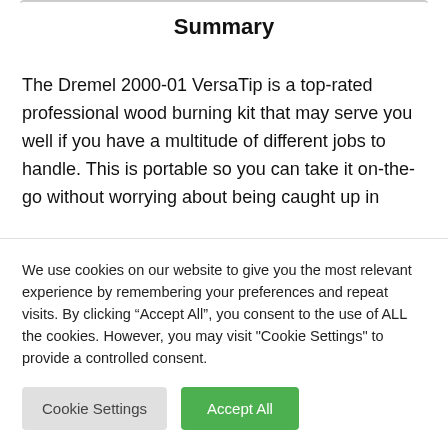Summary
The Dremel 2000-01 VersaTip is a top-rated professional wood burning kit that may serve you well if you have a multitude of different jobs to handle. This is portable so you can take it on-the-go without worrying about being caught up in
We use cookies on our website to give you the most relevant experience by remembering your preferences and repeat visits. By clicking “Accept All”, you consent to the use of ALL the cookies. However, you may visit "Cookie Settings" to provide a controlled consent.